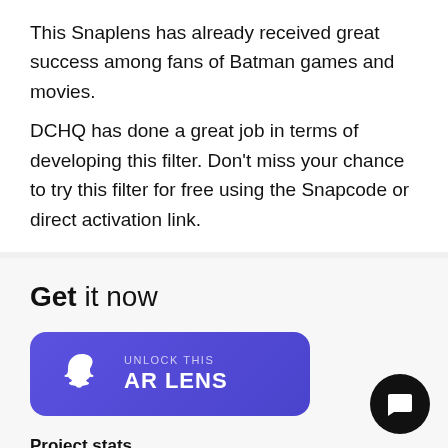This Snaplens has already received great success among fans of Batman games and movies.
DCHQ has done a great job in terms of developing this filter. Don't miss your chance to try this filter for free using the Snapcode or direct activation link.
Get it now
[Figure (other): Purple button with Snapchat ghost icon and text 'UNLOCK THIS AR LENS']
Project stats
Published: 03.01.2021
Downloads: 50
Views: 1300